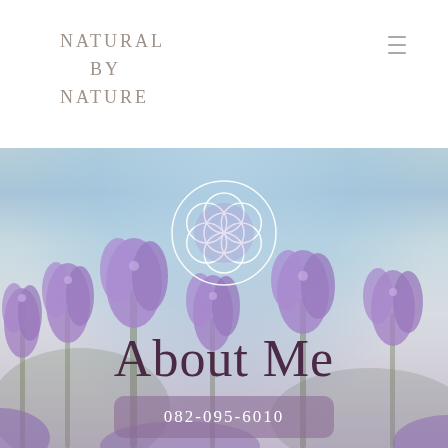NATURAL BY NATURE
[Figure (logo): Flower of Life / Seed of Life sacred geometry symbol in white outline with purple center tones, circular overlapping rings pattern]
About Me
082-095-6010